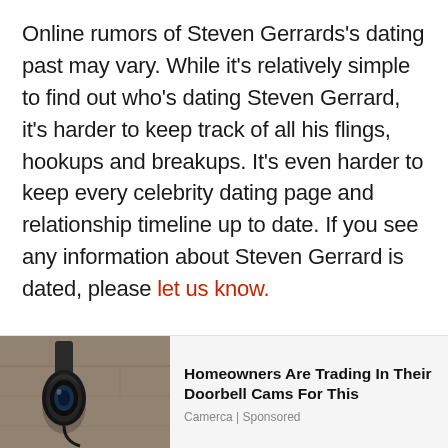Online rumors of Steven Gerrards's dating past may vary. While it's relatively simple to find out who's dating Steven Gerrard, it's harder to keep track of all his flings, hookups and breakups. It's even harder to keep every celebrity dating page and relationship timeline up to date. If you see any information about Steven Gerrard is dated, please let us know.
[Figure (photo): Photo of an outdoor wall-mounted security camera on a stone/stucco wall, shown in black and white tones]
Homeowners Are Trading In Their Doorbell Cams For This
Camerca | Sponsored